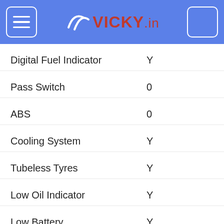vicky.in
| Feature | Value |
| --- | --- |
| Digital Fuel Indicator | Y |
| Pass Switch | 0 |
| ABS | 0 |
| Cooling System | Y |
| Tubeless Tyres | Y |
| Low Oil Indicator | Y |
| Low Battery Indicator | Y |
| Fuel Gauge | Y |